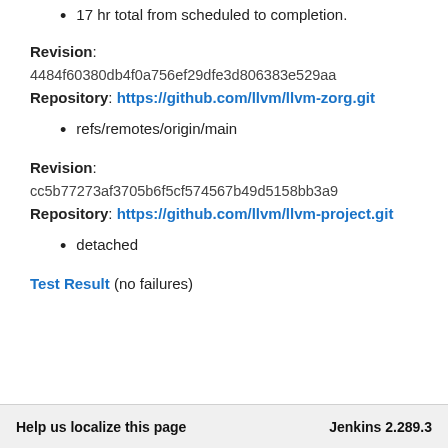17 hr total from scheduled to completion.
Revision: 4484f60380db4f0a756ef29dfe3d806383e529aa
Repository: https://github.com/llvm/llvm-zorg.git
refs/remotes/origin/main
Revision: cc5b77273af3705b6f5cf574567b49d5158bb3a9
Repository: https://github.com/llvm/llvm-project.git
detached
Test Result (no failures)
Help us localize this page    Jenkins 2.289.3